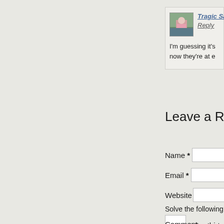[Figure (photo): Avatar thumbnail of commenter - person in pink outfit outdoors]
Tragic Sa
Reply
I'm guessing it's now they're at e
Leave a Reply
Name *
Email *
Website
Solve the following m
+ 6 = thirte
Comment